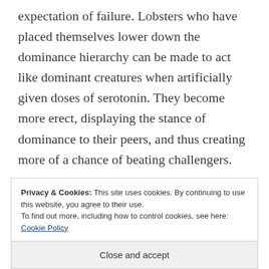expectation of failure. Lobsters who have placed themselves lower down the dominance hierarchy can be made to act like dominant creatures when artificially given doses of serotonin. They become more erect, displaying the stance of dominance to their peers, and thus creating more of a chance of beating challengers.
Privacy & Cookies: This site uses cookies. By continuing to use this website, you agree to their use.
To find out more, including how to control cookies, see here: Cookie Policy
Close and accept